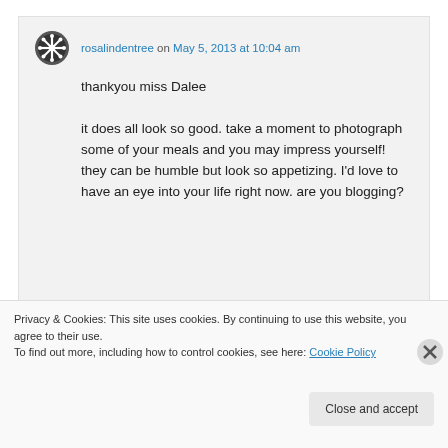rosalindentree on May 5, 2013 at 10:04 am

thankyou miss Dalee

it does all look so good. take a moment to photograph some of your meals and you may impress yourself! they can be humble but look so appetizing. I'd love to have an eye into your life right now. are you blogging?
Privacy & Cookies: This site uses cookies. By continuing to use this website, you agree to their use.
To find out more, including how to control cookies, see here: Cookie Policy